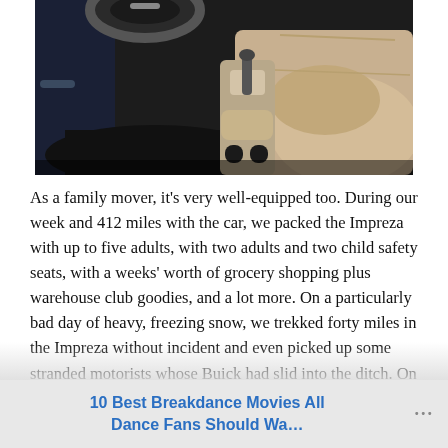[Figure (photo): Car interior photo showing the driver side footwell with black floor mat, steering wheel, center console with gear shift, and beige leather passenger seat.]
As a family mover, it's very well-equipped too. During our week and 412 miles with the car, we packed the Impreza with up to five adults, with two adults and two child safety seats, with a weeks' worth of grocery shopping plus warehouse club goodies, and a lot more. On a particularly bad day of heavy, freezing snow, we trekked forty miles in the Impreza without incident and even picked up some stranded motorists whose Buick had slid into the ditch. On a clear day shortly after, we took it into the newly-formed mud and had a blast. That is what
10 Best Breakdance Movies All Dance Fans Should Wa...